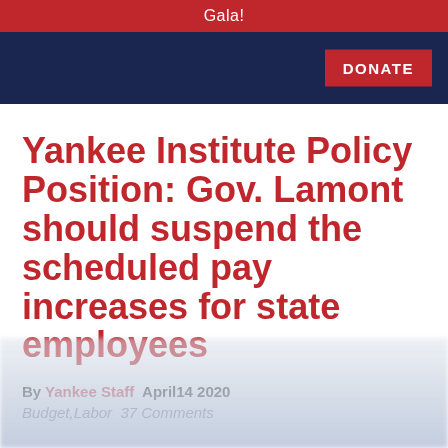Gala!
[Figure (other): Navy navigation bar with red DONATE button on the right]
Yankee Institute Policy Position: Gov. Lamont should suspend the scheduled pay increases for state employees
By Yankee Staff  April14 2020
Budget,Labor  37 Comments